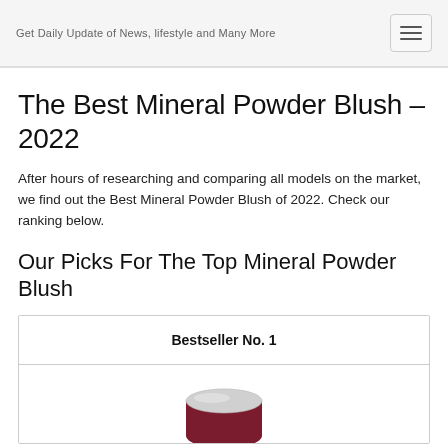Get Daily Update of News, lifestyle and Many More
The Best Mineral Powder Blush – 2022
After hours of researching and comparing all models on the market, we find out the Best Mineral Powder Blush of 2022. Check our ranking below.
Our Picks For The Top Mineral Powder Blush
Bestseller No. 1
[Figure (photo): Product image of mineral powder blush, partially visible at bottom of page]